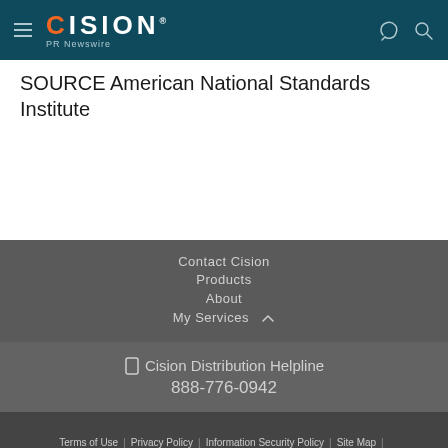CISION PR Newswire
SOURCE American National Standards Institute
Contact Cision
Products
About
My Services
Cision Distribution Helpline 888-776-0942
Terms of Use | Privacy Policy | Information Security Policy | Site Map | RSS | Cookie Settings
Copyright © 2022 Cision US Inc.